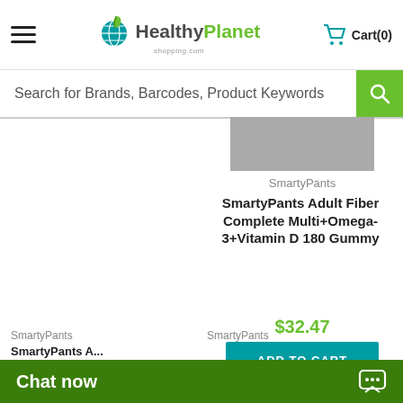HealthyPlanet shopping.com — Cart(0)
Search for Brands, Barcodes, Product Keywords
[Figure (photo): Product image placeholder (gray rectangle)]
SmartyPants
SmartyPants Adult Fiber Complete Multi+Omega-3+Vitamin D 180 Gummy
$32.47
ADD TO CART
SmartyPants
SmartyPants A...
SmartyPants
Chat now